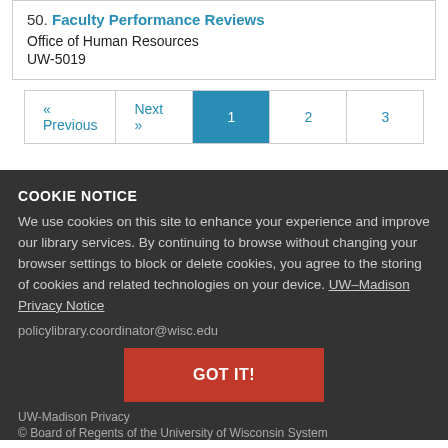50. Faculty Performance Reviews
Office of Human Resources
UW-5019
« Previous  Next »  1  2  3
COOKIE NOTICE
We use cookies on this site to enhance your experience and improve our library services. By continuing to browse without changing your browser settings to block or delete cookies, you agree to the storing of cookies and related technologies on your device. UW–Madison Privacy Notice
policylibrary.coordinator@wisc.edu
GOT IT!
UW-Madison Privacy
© Board of Regents of the University of Wisconsin System